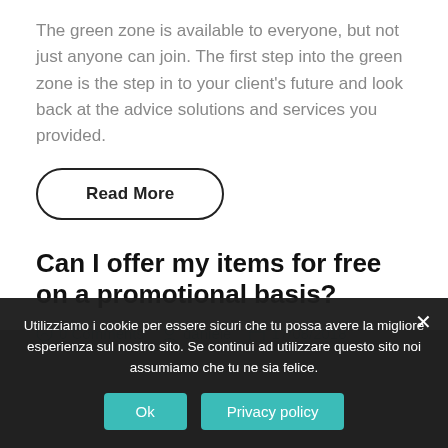The green zone is available to everyone, but not just anyone can join. The first step into the green zone is the step in to your client's future and look back at the advice solutions and services you provided.
Read More
Can I offer my items for free on a promotional basis?
0 Comments   daniele   17/08/2018
Utilizziamo i cookie per essere sicuri che tu possa avere la migliore esperienza sul nostro sito. Se continui ad utilizzare questo sito noi assumiamo che tu ne sia felice.